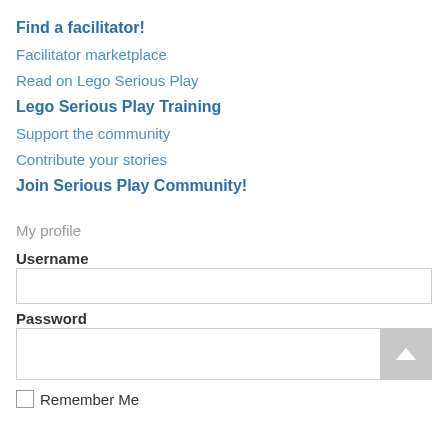Find a facilitator!
Facilitator marketplace
Read on Lego Serious Play
Lego Serious Play Training
Support the community
Contribute your stories
Join Serious Play Community!
My profile
Username
Password
Remember Me